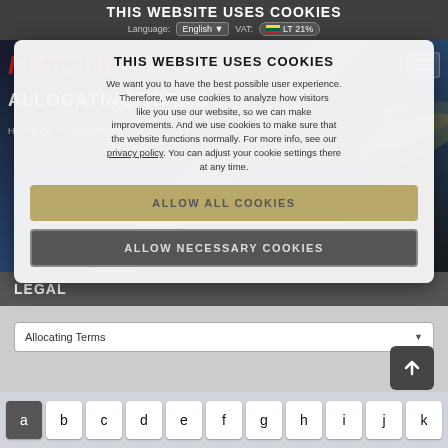THIS WEBSITE USES COOKIES
Language: English ▼   VAT: LT 21%
[Figure (screenshot): Hetzner website background with hero section, logo, hamburger menu, ALLOCATING TERMS heading, breadcrumb navigation, and decorative graphic]
We want you to have the best possible user experience. Therefore, we use cookies to analyze how visitors like you use our website, so we can make improvements. And we use cookies to make sure that the website functions normally. For more info, see our privacy policy. You can adjust your cookie settings there at any time.
ALLOW ALL COOKIES
ALLOW NECESSARY COOKIES
LEGAL
Allocating Terms
[Figure (screenshot): Mobile keyboard bottom row showing keys: a (dark), b, c, d, e, f, g, h, i, j, k]